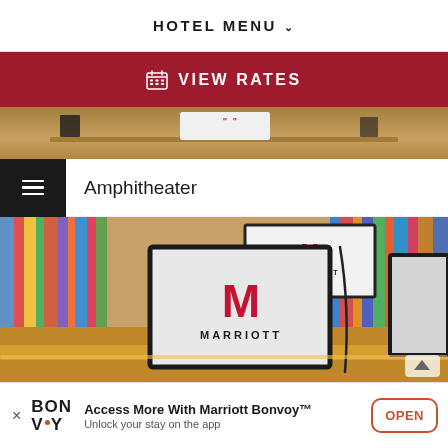HOTEL MENU
VIEW RATES
[Figure (photo): Conference room table with Marriott branded items, partial view of screens and desk]
Amphitheater
[Figure (photo): Marriott hotel amphitheater meeting room with laptops displaying Marriott logo, colorful book spines in background]
Access More With Marriott Bonvoy™ Unlock your stay on the app